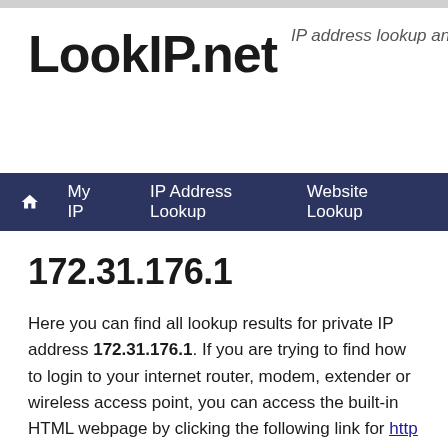LookIP.net
IP address lookup and information too
Home | My IP | IP Address Lookup | Website Lookup
172.31.176.1
Here you can find all lookup results for private IP address 172.31.176.1. If you are trying to find how to login to your internet router, modem, extender or wireless access point, you can access the built-in HTML webpage by clicking the following link for http or https.
The most used default username and password to gain access to the administrative interface is 'admin' or 'setup' and in case of a TP Link, Netgear or D-Link wireless (or Wi-Fi) router you can also find the default settings on the back of the device. If